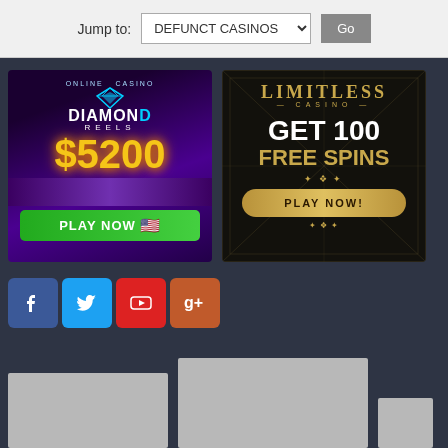Jump to: DEFUNCT CASINOS  Go
[Figure (advertisement): Diamond Reels casino ad: $5200 bonus, PLAY NOW button with US flag]
[Figure (advertisement): Limitless Casino ad: GET 100 FREE SPINS, PLAY NOW! button]
[Figure (infographic): Social media icons row: Facebook, Twitter, YouTube, Google+]
[Figure (infographic): Bottom area with grey placeholder image boxes]